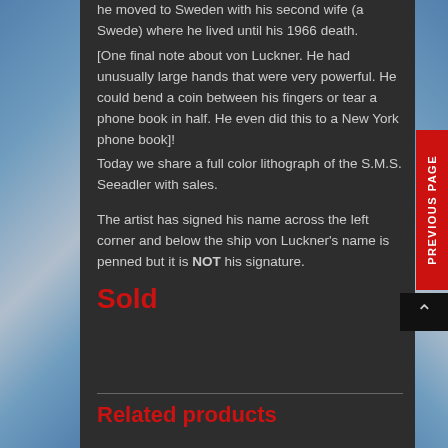he moved to Sweden with his second wife (a Swede) where he lived until his 1966 death.
[One final note about von Luckner. He had unusually large hands that were very powerful. He could bend a coin between his fingers or tear a phone book in half. He even did this to a New York phone book]!
Today we share a full color lithograph of the S.M.S. Seeadler with sales.
The artist has signed his name across the left corner and below the ship von Luckner's name is penned but it is NOT his signature.
Sold
Related products